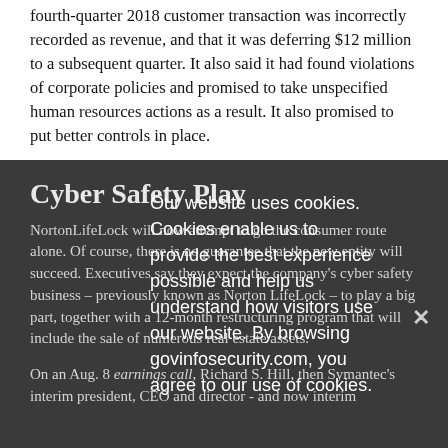fourth-quarter 2018 customer transaction was incorrectly recorded as revenue, and that it was deferring $12 million to a subsequent quarter. It also said it had found violations of corporate policies and promised to take unspecified human resources actions as a result. It also promised to put better controls in place.
Cyber Safety Play
NortonLifeLock will now attempt to go the consumer route alone. Of course, there is no guarantee that the new entity will succeed. Executives say they expect the company's cyber safety business – previously known as Norton LifeLock – to play a big part, together with a 12-month restructuring program that will include the sale of numerous real estate assets.
On an Aug. 8 earnings call, Richard S. Hill, then Symantec's interim president, CEO and director - and now interim
Our website uses cookies. Cookies enable us to provide the best experience possible and help us understand how visitors use our website. By browsing govinfosecurity.com, you agree to our use of cookies.